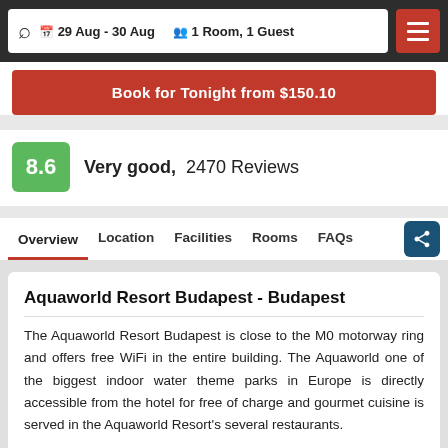29 Aug - 30 Aug   1 Room, 1 Guest
Book for Tonight from $150.10
8.6  Very good,  2470 Reviews
Overview  Location  Facilities  Rooms  FAQs
Aquaworld Resort Budapest - Budapest
The Aquaworld Resort Budapest is close to the M0 motorway ring and offers free WiFi in the entire building. The Aquaworld one of the biggest indoor water theme parks in Europe is directly accessible from the hotel for free of charge and gourmet cuisine is served in the Aquaworld Resort's several restaurants.
The separate entertainment centre connected to the